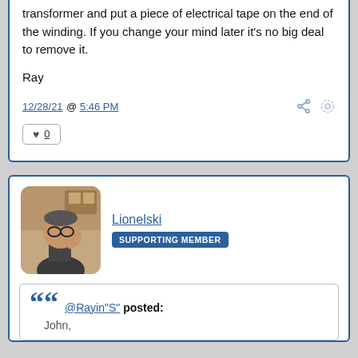transformer and put a piece of electrical tape on the end of the winding. If you change your mind later it's no big deal to remove it.
Ray
12/28/21 @ 5:46 PM
♥ 0
Lionelski  SUPPORTING MEMBER
@Rayin"S" posted:
John,